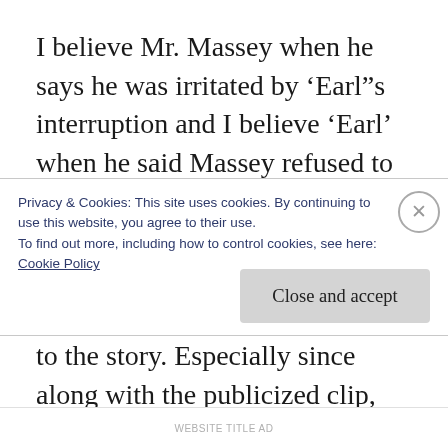I believe Mr. Massey when he says he was irritated by ‘Earl”s interruption and I believe ‘Earl’ when he said Massey refused to give his room number which led to the police being called. I don’t believe the video circulating on the networks now is all there is to the story. Especially since along with the publicized clip, Massey posted a few more, since deleted videos, to Instagram in which he gave further commentary on the event. In one, he stated he
Privacy & Cookies: This site uses cookies. By continuing to use this website, you agree to their use.
To find out more, including how to control cookies, see here:
Cookie Policy
Close and accept
WEBSITE TITLE AD